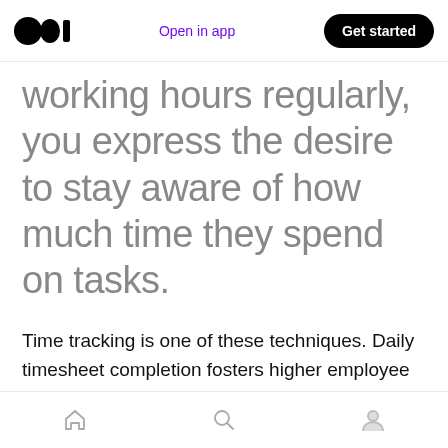Open in app | Get started
working hours regularly, you express the desire to stay aware of how much time they spend on tasks.
Time tracking is one of these techniques. Daily timesheet completion fosters higher employee accountability. By encouraging your team members to track their working hours regularly, you express the desire to stay aware of how much time they spend on tasks. This helps them
Home | Search | Profile